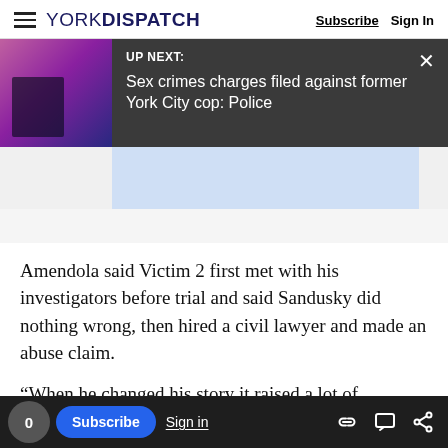YORK DISPATCH — Subscribe | Sign In
[Figure (screenshot): UP NEXT banner with dark background, thumbnail image on left showing a person, headline: Sex crimes charges filed against former York City cop: Police, with close X button]
Amendola said Victim 2 first met with his investigators before trial and said Sandusky did nothing wrong, then hired a civil lawyer and made an abuse claim.
“When he changed his story it raised a lot of questions in my mind— to the point where he
0 Subscribe Sign in [share icons]